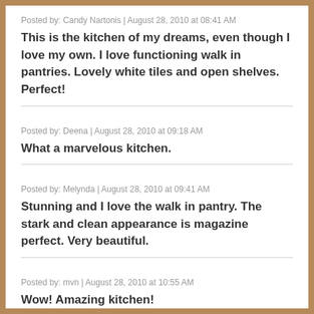Posted by: Candy Nartonis | August 28, 2010 at 08:41 AM
This is the kitchen of my dreams, even though I love my own. I love functioning walk in pantries. Lovely white tiles and open shelves. Perfect!
Posted by: Deena | August 28, 2010 at 09:18 AM
What a marvelous kitchen.
Posted by: Melynda | August 28, 2010 at 09:41 AM
Stunning and I love the walk in pantry. The stark and clean appearance is magazine perfect. Very beautiful.
Posted by: mvn | August 28, 2010 at 10:55 AM
Wow! Amazing kitchen!